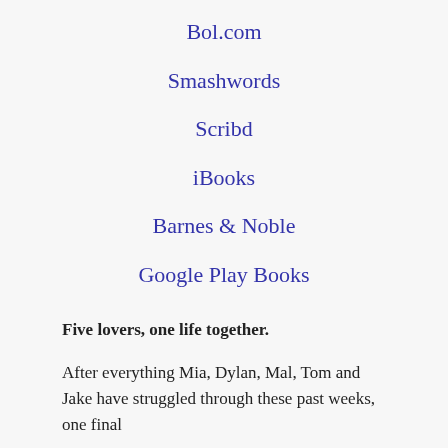Bol.com
Smashwords
Scribd
iBooks
Barnes & Noble
Google Play Books
Five lovers, one life together.
After everything Mia, Dylan, Mal, Tom and Jake have struggled through these past weeks, one final